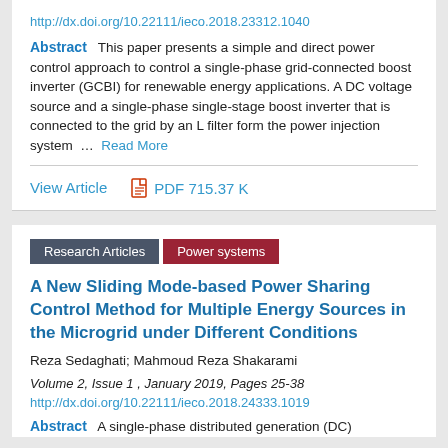http://dx.doi.org/10.22111/ieco.2018.23312.1040
Abstract   This paper presents a simple and direct power control approach to control a single-phase grid-connected boost inverter (GCBI) for renewable energy applications. A DC voltage source and a single-phase single-stage boost inverter that is connected to the grid by an L filter form the power injection system … Read More
View Article
PDF 715.37 K
Research Articles
Power systems
A New Sliding Mode-based Power Sharing Control Method for Multiple Energy Sources in the Microgrid under Different Conditions
Reza Sedaghati; Mahmoud Reza Shakarami
Volume 2, Issue 1 , January 2019, Pages 25-38
http://dx.doi.org/10.22111/ieco.2018.24333.1019
Abstract   A single-phase distributed generation (DC)